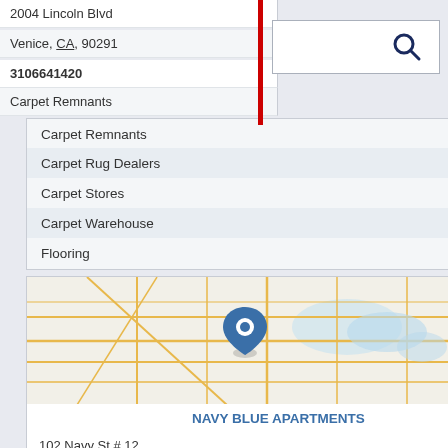2004 Lincoln Blvd
Venice, CA, 90291
3106641420
Carpet Remnants
Carpet Rug Dealers
Carpet Stores
Carpet Warehouse
Flooring
[Figure (map): Street map showing location pin for Navy Blue Apartments in Venice, CA area]
NAVY BLUE APARTMENTS
102 Navy St # 12
Venice, CA, 90291
3105819551
Apartment Finder Rental Service
Apartments By All Bills Paid
Apartments For Rent
Apartments Furnished
Apartments With No Credit Check